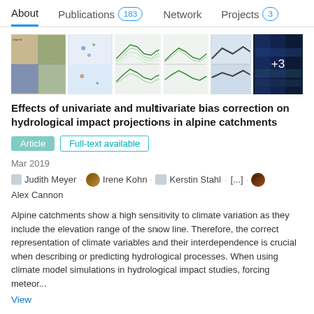About  Publications 183  Network  Projects 3
[Figure (other): Strip of scientific figure thumbnails showing maps, plots, and charts related to hydrological impact projections]
Effects of univariate and multivariate bias correction on hydrological impact projections in alpine catchments
Article  Full-text available
Mar 2019
Judith Meyer · Irene Kohn · Kerstin Stahl · [...] · Alex Cannon
Alpine catchments show a high sensitivity to climate variation as they include the elevation range of the snow line. Therefore, the correct representation of climate variables and their interdependence is crucial when describing or predicting hydrological processes. When using climate model simulations in hydrological impact studies, forcing meteor...
View